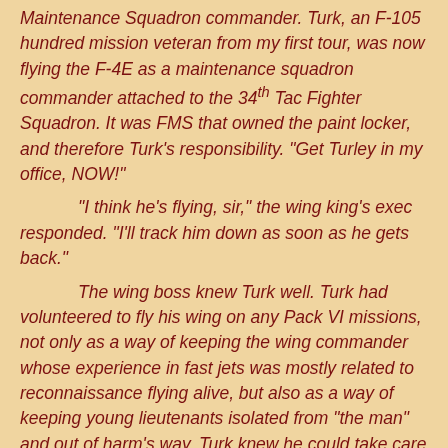Maintenance Squadron commander. Turk, an F-105 hundred mission veteran from my first tour, was now flying the F-4E as a maintenance squadron commander attached to the 34th Tac Fighter Squadron. It was FMS that owned the paint locker, and therefore Turk's responsibility. "Get Turley in my office, NOW!"

"I think he's flying, sir," the wing king's exec responded. "I'll track him down as soon as he gets back."

The wing boss knew Turk well. Turk had volunteered to fly his wing on any Pack VI missions, not only as a way of keeping the wing commander whose experience in fast jets was mostly related to reconnaissance flying alive, but also as a way of keeping young lieutenants isolated from "the man" and out of harm's way. Turk knew he could take care of himself and might even be able to put himself in place to get a MiG if he had to pull the boss' shootuts out of